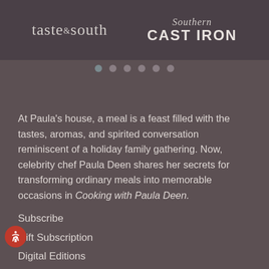[Figure (logo): Two magazine logos side by side: 'taste the south' on the left and 'Southern CAST IRON' on the right, on a dark brownish-gray banner.]
[Figure (other): Navigation dots: six dots in a row, one highlighted (active) followed by five lighter dots.]
At Paula's house, a meal is a feast filled with the tastes, aromas, and spirited conversation reminiscent of a holiday family gathering. Now, celebrity chef Paula Deen shares her secrets for transforming ordinary meals into memorable occasions in Cooking with Paula Deen.
Subscribe
Gift Subscription
Digital Editions